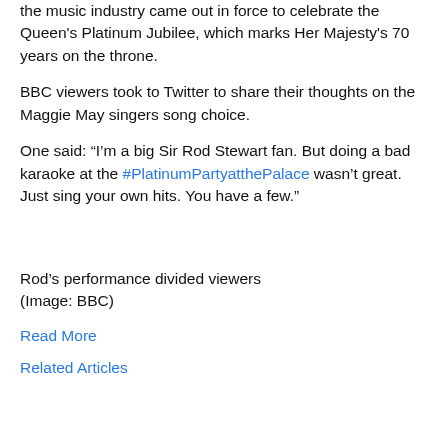the music industry came out in force to celebrate the Queen's Platinum Jubilee, which marks Her Majesty's 70 years on the throne.
BBC viewers took to Twitter to share their thoughts on the Maggie May singers song choice.
One said: “I’m a big Sir Rod Stewart fan. But doing a bad karaoke at the #PlatinumPartyatthePalace wasn’t great. Just sing your own hits. You have a few.”
Rod’s performance divided viewers (Image: BBC)
Read More
Related Articles